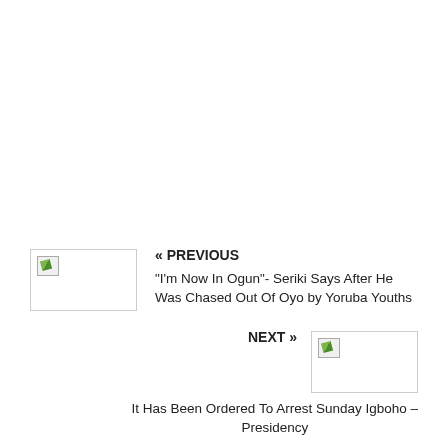« PREVIOUS
"I'm Now In Ogun"- Seriki Says After He Was Chased Out Of Oyo by Yoruba Youths
NEXT »
It Has Been Ordered To Arrest Sunday Igboho – Presidency